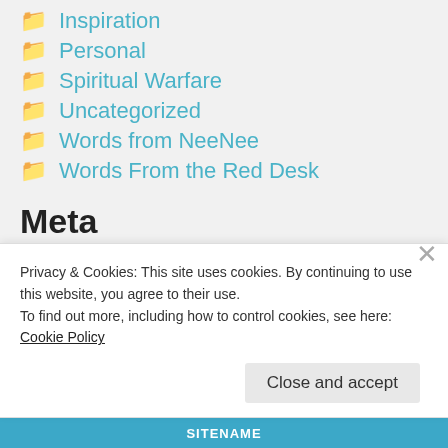Inspiration
Personal
Spiritual Warfare
Uncategorized
Words from NeeNee
Words From the Red Desk
Meta
Register
Privacy & Cookies: This site uses cookies. By continuing to use this website, you agree to their use.
To find out more, including how to control cookies, see here: Cookie Policy
Close and accept